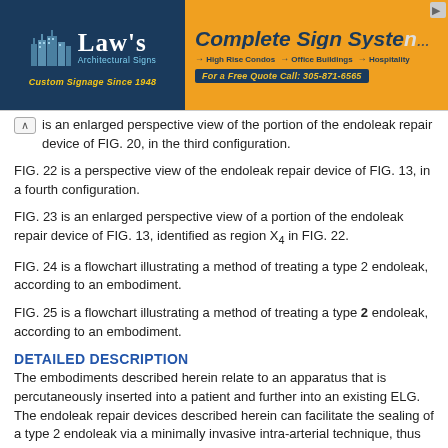[Figure (other): Advertising banner showing two parts: left side is Law's Architectural Signs logo on dark blue background with tagline 'Custom Signage Since 1948'; right side is orange background ad for 'Complete Sign System' with bullet points for High Rise Condos, Office Buildings, Hospitality, and phone number 305-871-6565]
is an enlarged perspective view of the portion of the endoleak repair device of FIG. 20, in the third configuration.
FIG. 22 is a perspective view of the endoleak repair device of FIG. 13, in a fourth configuration.
FIG. 23 is an enlarged perspective view of a portion of the endoleak repair device of FIG. 13, identified as region X4 in FIG. 22.
FIG. 24 is a flowchart illustrating a method of treating a type 2 endoleak, according to an embodiment.
FIG. 25 is a flowchart illustrating a method of treating a type 2 endoleak, according to an embodiment.
DETAILED DESCRIPTION
The embodiments described herein relate to an apparatus that is percutaneously inserted into a patient and further into an existing ELG. The endoleak repair devices described herein can facilitate the sealing of a type 2 endoleak via a minimally invasive intra-arterial technique, thus reducing the likelihood of complications due to alternative treatment methods, such as, for example, the translumbar and endovascular embolization